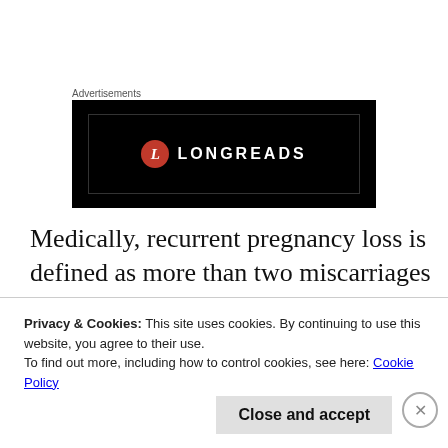Advertisements
[Figure (logo): Longreads advertisement banner — black background with red circular L logo and LONGREADS text in white capitals]
Medically, recurrent pregnancy loss is defined as more than two miscarriages in a row. We were two strikes down, one more to go. But as anyone who has gone through miscarriage will know – and without meaning to diminish the pain for
Privacy & Cookies: This site uses cookies. By continuing to use this website, you agree to their use.
To find out more, including how to control cookies, see here: Cookie Policy
Close and accept